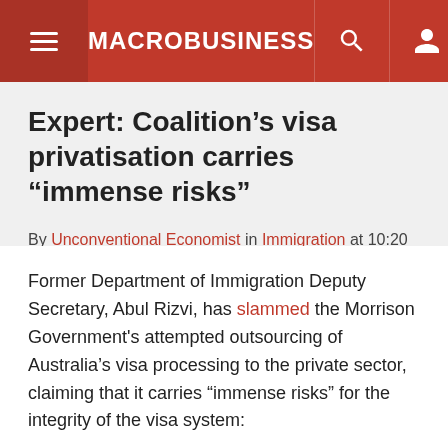MACROBUSINESS
Expert: Coalition’s visa privatisation carries “immense risks”
By Unconventional Economist in Immigration at 10:20 am on September 27, 2019 | 13 comments
Former Department of Immigration Deputy Secretary, Abul Rizvi, has slammed the Morrison Government's attempted outsourcing of Australia’s visa processing to the private sector, claiming that it carries “immense risks” for the integrity of the visa system: